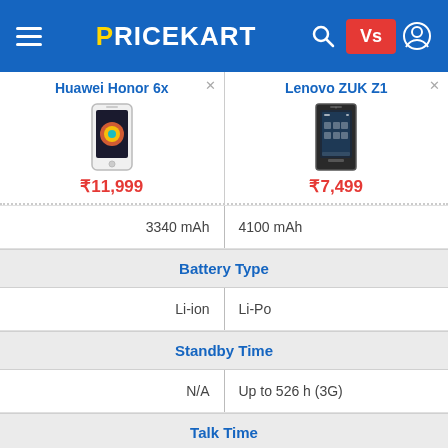PRICEKART
| Huawei Honor 6x | Lenovo ZUK Z1 |
| --- | --- |
| ₹11,999 | ₹7,499 |
| 3340 mAh | 4100 mAh |
| Battery Type | Battery Type |
| Li-ion | Li-Po |
| Standby Time | Standby Time |
| N/A | Up to 526 h (3G) |
| Talk Time | Talk Time |
| N/A | Up to 38 h (3G) |
| Fingerprint Scanner | Fingerprint Scanner |
| Yes | Yes |